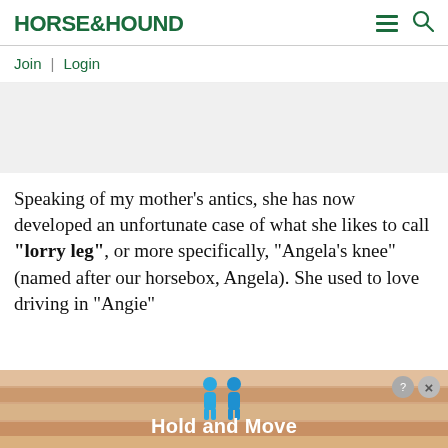HORSE&HOUND
Join | Login
[Figure (other): Advertisement placeholder — light gray rectangle]
Speaking of my mother's antics, she has now developed an unfortunate case of what she likes to call "lorry leg", or more specifically, "Angela's knee" (named after our horsebox, Angela). She used to love driving in "Angie"
[Figure (other): Bottom advertisement overlay with blue character figures and text 'Hold and Move' on a wooden background]